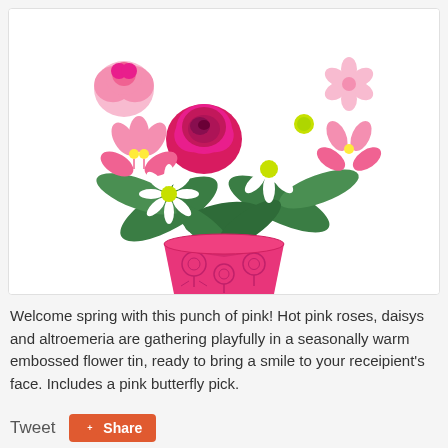[Figure (photo): A floral bouquet arrangement featuring hot pink roses, white daisies, and pink alstroemeria flowers in a bright pink embossed flower tin with floral patterns on a white background.]
Welcome spring with this punch of pink! Hot pink roses, daisys and altroemeria are gathering playfully in a seasonally warm embossed flower tin, ready to bring a smile to your receipient's face. Includes a pink butterfly pick.
Tweet
Share